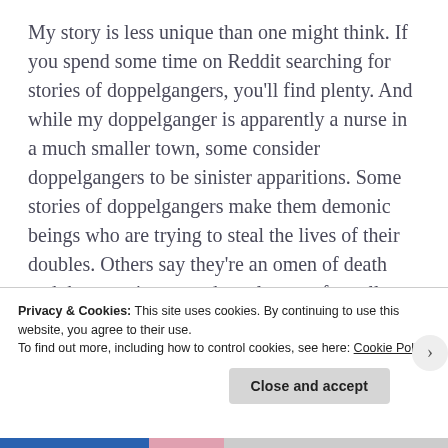My story is less unique than one might think. If you spend some time on Reddit searching for stories of doppelgangers, you'll find plenty. And while my doppelganger is apparently a nurse in a much smaller town, some consider doppelgangers to be sinister apparitions. Some stories of doppelgangers make them demonic beings who are trying to steal the lives of their doubles. Others say they're an omen of death and that meeting your doppelganger foretells that one of you will
Privacy & Cookies: This site uses cookies. By continuing to use this website, you agree to their use.
To find out more, including how to control cookies, see here: Cookie Policy
Close and accept